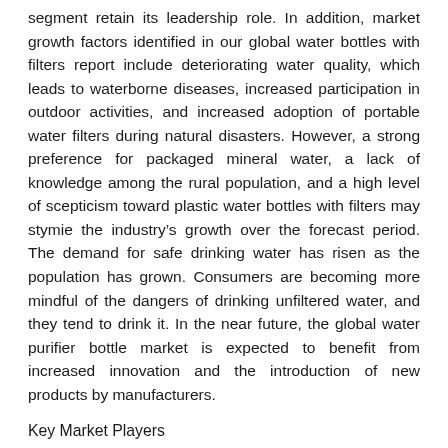segment retain its leadership role. In addition, market growth factors identified in our global water bottles with filters report include deteriorating water quality, which leads to waterborne diseases, increased participation in outdoor activities, and increased adoption of portable water filters during natural disasters. However, a strong preference for packaged mineral water, a lack of knowledge among the rural population, and a high level of scepticism toward plastic water bottles with filters may stymie the industry's growth over the forecast period. The demand for safe drinking water has risen as the population has grown. Consumers are becoming more mindful of the dangers of drinking unfiltered water, and they tend to drink it. In the near future, the global water purifier bottle market is expected to benefit from increased innovation and the introduction of new products by manufacturers.
Key Market Players
The major players in the market are Caktus, Inc., Ecomo